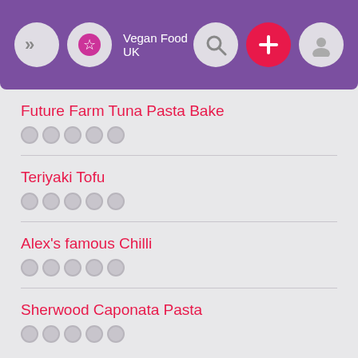Vegan Food UK
Future Farm Tuna Pasta Bake
Teriyaki Tofu
Alex's famous Chilli
Sherwood Caponata Pasta